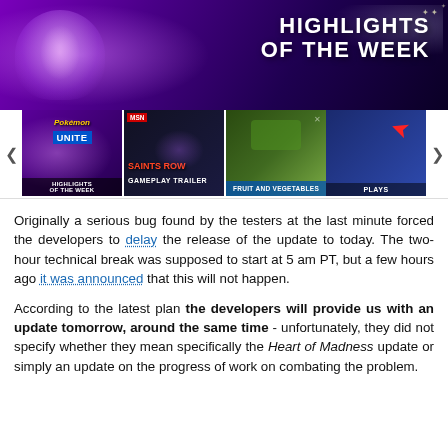[Figure (screenshot): Banner image with purple/dark gradient background and fireworks, showing 'HIGHLIGHTS OF THE WEEK' text in white bold uppercase, with a Mewtwo-like Pokémon character on the left.]
[Figure (screenshot): Thumbnail strip with 4 video thumbnails: 1) Pokémon UNITE Highlights of the Week, 2) Saints Row Gameplay Trailer (MSN badge), 3) Fruit and Vegetables (nature/game screenshot), 4) PLAYS with a Lego figure and Conan O'Brien.]
Originally a serious bug found by the testers at the last minute forced the developers to delay the release of the update to today. The two-hour technical break was supposed to start at 5 am PT, but a few hours ago it was announced that this will not happen.
According to the latest plan the developers will provide us with an update tomorrow, around the same time - unfortunately, they did not specify whether they mean specifically the Heart of Madness update or simply an update on the progress of work on combating the problem.